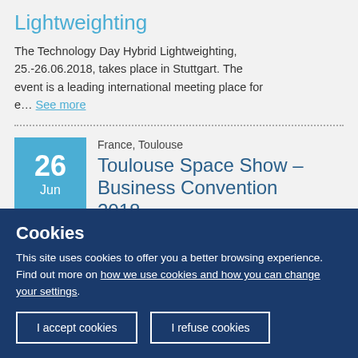Lightweighting
The Technology Day Hybrid Lightweighting, 25.-26.06.2018, takes place in Stuttgart. The event is a leading international meeting place for e... See more
France, Toulouse
Toulouse Space Show – Business Convention 2018
Enterprise Europe Network (CCI Occitanie &
Cookies
This site uses cookies to offer you a better browsing experience. Find out more on how we use cookies and how you can change your settings.
I accept cookies
I refuse cookies